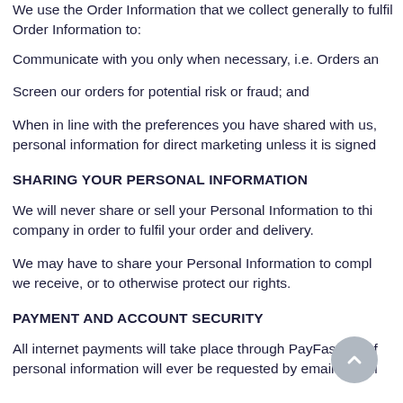We use the Order Information that we collect generally to fulfil Order Information to:
Communicate with you only when necessary, i.e. Orders an
Screen our orders for potential risk or fraud; and
When in line with the preferences you have shared with us, personal information for direct marketing unless it is signed
SHARING YOUR PERSONAL INFORMATION
We will never share or sell your Personal Information to thi company in order to fulfil your order and delivery.
We may have to share your Personal Information to compl we receive, or to otherwise protect our rights.
PAYMENT AND ACCOUNT SECURITY
All internet payments will take place through PayFast, a saf personal information will ever be requested by email. Shoul